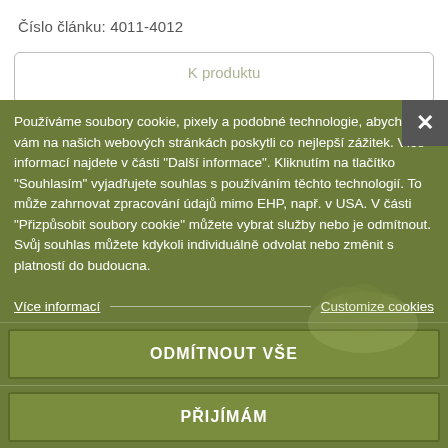Číslo článku: 4011-4012
K produktu
Přidat
Používáme soubory cookie, pixely a podobné technologie, abychom vám na našich webových stránkách poskytli co nejlepší zážitek. Více informací najdete v části "Další informace". Kliknutím na tlačítko "Souhlasím" vyjadřujete souhlas s používáním těchto technologií. To může zahrnovat zpracování údajů mimo EHP, např. v USA. V části "Přizpůsobit soubory cookie" můžete vybrat služby nebo je odmítnout. Svůj souhlas můžete kdykoli individuálně odvolat nebo změnit s platností do budoucna.
Více informací
Customize cookies
ODMÍTNOUT VŠE
PŘIJÍMÁM